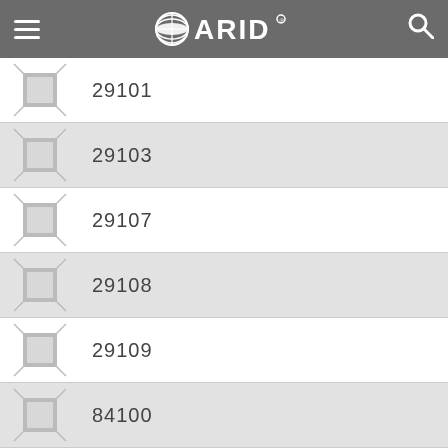ARID
29101
29103
29107
29108
29109
84100